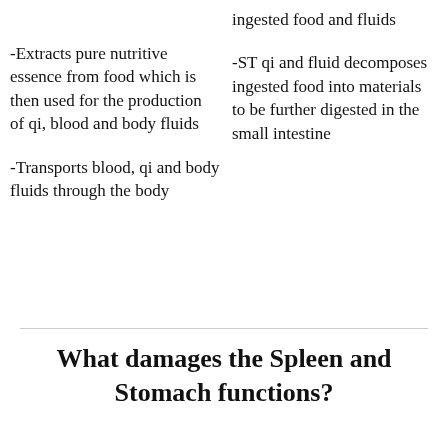-Extracts pure nutritive essence from food which is then used for the production of qi, blood and body fluids
-Transports blood, qi and body fluids through the body
ingested food and fluids
-ST qi and fluid decomposes ingested food into materials to be further digested in the small intestine
What damages the Spleen and Stomach functions?